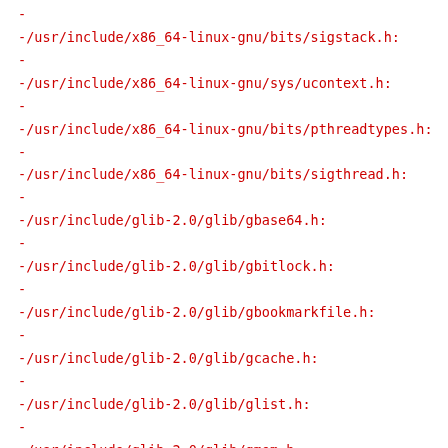-
-/usr/include/x86_64-linux-gnu/bits/sigstack.h:
-
-/usr/include/x86_64-linux-gnu/sys/ucontext.h:
-
-/usr/include/x86_64-linux-gnu/bits/pthreadtypes.h:
-
-/usr/include/x86_64-linux-gnu/bits/sigthread.h:
-
-/usr/include/glib-2.0/glib/gbase64.h:
-
-/usr/include/glib-2.0/glib/gbitlock.h:
-
-/usr/include/glib-2.0/glib/gbookmarkfile.h:
-
-/usr/include/glib-2.0/glib/gcache.h:
-
-/usr/include/glib-2.0/glib/glist.h:
-
-/usr/include/glib-2.0/glib/gmem.h:
-
-/usr/include/glib-2.0/glib/gslice.h:
-
-/usr/include/glib-2.0/glib/gchecksum.h:
-
-/usr/include/glib-2.0/glib/gcompletion.h:
-
-/usr/include/glib-2.0/glib/gconvert.h:
-
-/usr/include/glib-2.0/glib/gdataset.h: